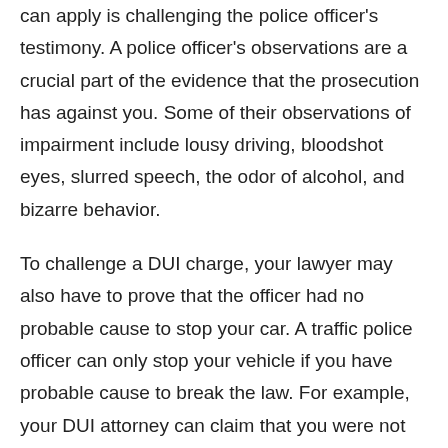can apply is challenging the police officer's testimony. A police officer's observations are a crucial part of the evidence that the prosecution has against you. Some of their observations of impairment include lousy driving, bloodshot eyes, slurred speech, the odor of alcohol, and bizarre behavior.
To challenge a DUI charge, your lawyer may also have to prove that the officer had no probable cause to stop your car. A traffic police officer can only stop your vehicle if you have probable cause to break the law. For example, your DUI attorney can claim that you were not speeding, did not violate a traffic law, or do anything to suggest you were drunk. In some cases, if a police officer did not give you Miranda warnings, an incriminating